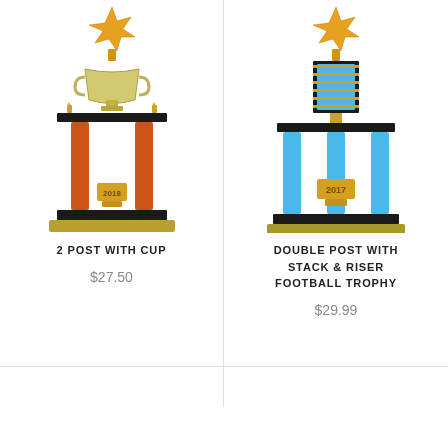[Figure (photo): Trophy with 2 orange posts, cup on top, star figure at apex, year marker 2018, black base - product photo on white background]
2 POST WITH CUP
$27.50
[Figure (photo): Trophy with 3 blue posts, rectangular blue riser/stack column, star figure at apex, year marker 2017, black base - product photo on white background]
DOUBLE POST WITH STACK & RISER FOOTBALL TROPHY
$29.99